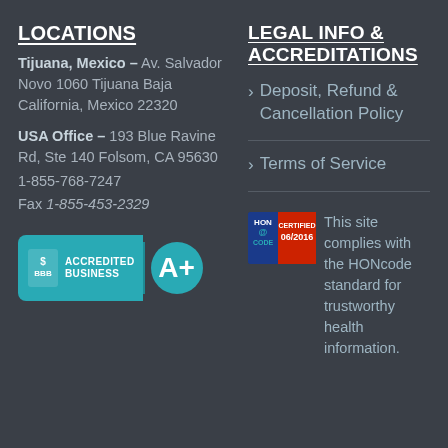LOCATIONS
Tijuana, Mexico – Av. Salvador Novo 1060 Tijuana Baja California, Mexico 22320
USA Office – 193 Blue Ravine Rd, Ste 140 Folsom, CA 95630
1-855-768-7247
Fax 1-855-453-2329
[Figure (logo): BBB Accredited Business A+ badge in teal]
LEGAL INFO & ACCREDITATIONS
> Deposit, Refund & Cancellation Policy
> Terms of Service
[Figure (logo): HONcode CERTIFIED 06/2016 badge alongside text: This site complies with the HONcode standard for trustworthy health information.]